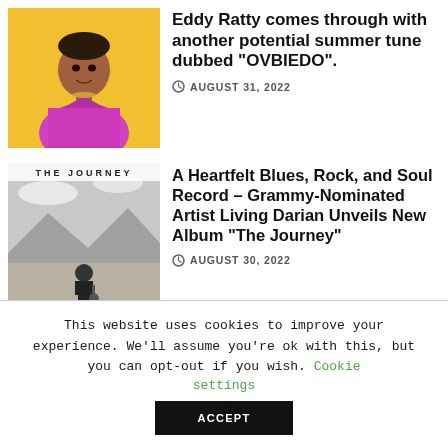[Figure (photo): Man in pink/magenta jacket on yellow background (Eddy Ratty)]
Eddy Ratty comes through with another potential summer tune dubbed “OVBIEDO”.
AUGUST 31, 2022
[Figure (photo): Black and white album cover 'THE JOURNEY' by Living Darian, showing man with guitar on empty road]
A Heartfelt Blues, Rock, and Soul Record – Grammy-Nominated Artist Living Darian Unveils New Album “The Journey”
AUGUST 30, 2022
[Figure (photo): Man in grey hoodie and cap (partial, cropped) - The Voice of the Gulf Coast article]
The Voice of the Gulf Coast is
This website uses cookies to improve your experience. We’ll assume you’re ok with this, but you can opt-out if you wish. Cookie settings ACCEPT